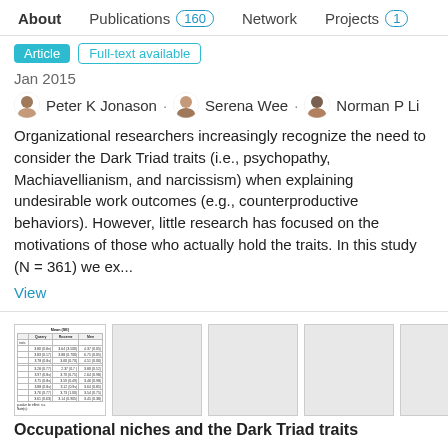About   Publications 160   Network   Projects 1
Article   Full-text available
Jan 2015
Peter K Jonason · Serena Wee · Norman P Li
Organizational researchers increasingly recognize the need to consider the Dark Triad traits (i.e., psychopathy, Machiavellianism, and narcissism) when explaining undesirable work outcomes (e.g., counterproductive behaviors). However, little research has focused on the motivations of those who actually hold the traits. In this study (N = 361) we ex...
View
[Figure (table-as-image): Small thumbnail image of a data table]
Occupational niches and the Dark Triad traits
Article   Full-text available